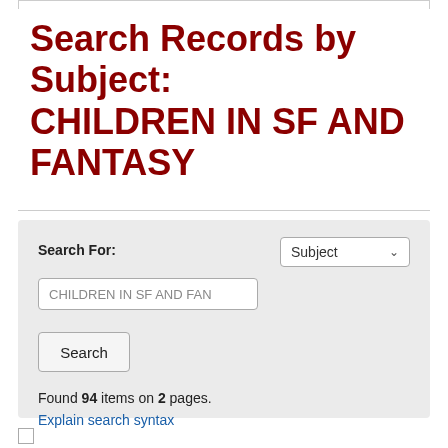Search Records by Subject: CHILDREN IN SF AND FANTASY
Search For:
Subject
CHILDREN IN SF AND FAN
Search
Found 94 items on 2 pages.
Explain search syntax